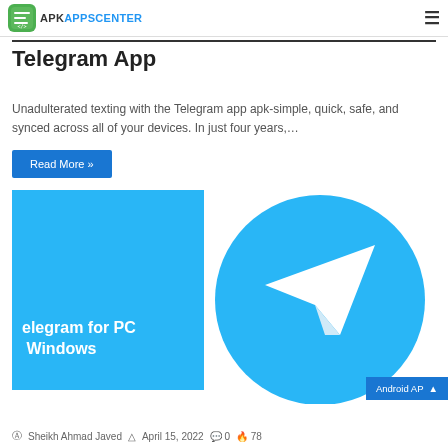APKAppsCenter — Android AP
Telegram App
Unadulterated texting with the Telegram app apk-simple, quick, safe, and synced across all of your devices. In just four years,…
Read More »
[Figure (illustration): Blue rectangular card with text 'Telegram for PC Windows' in white, alongside Telegram logo (blue circle with white paper plane icon)]
Sheikh Ahmad Javed  April 15, 2022  0  78